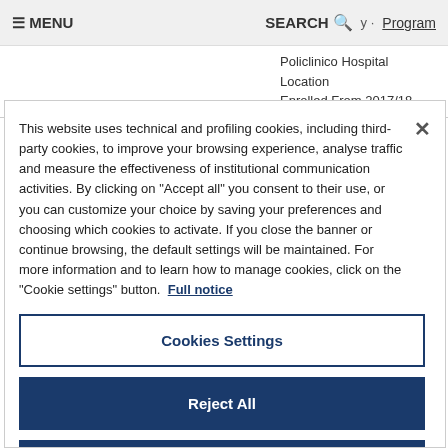≡ MENU   SEARCH 🔍   Program
Policlinico Hospital Location
Enrolled From 2017/18
This website uses technical and profiling cookies, including third-party cookies, to improve your browsing experience, analyse traffic and measure the effectiveness of institutional communication activities. By clicking on "Accept all" you consent to their use, or you can customize your choice by saving your preferences and choosing which cookies to activate. If you close the banner or continue browsing, the default settings will be maintained. For more information and to learn how to manage cookies, click on the "Cookie settings" button. Full notice
Cookies Settings
Reject All
Accept All Cookies